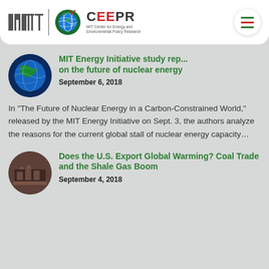MIT | CEEPR - MIT Center for Energy and Environmental Policy Research
MIT Energy Initiative study rep... on the future of nuclear energy
September 6, 2018
In “The Future of Nuclear Energy in a Carbon-Constrained World,” released by the MIT Energy Initiative on Sept. 3, the authors analyze the reasons for the current global stall of nuclear energy capacity…
Does the U.S. Export Global Warming? Coal Trade and the Shale Gas Boom
September 4, 2018